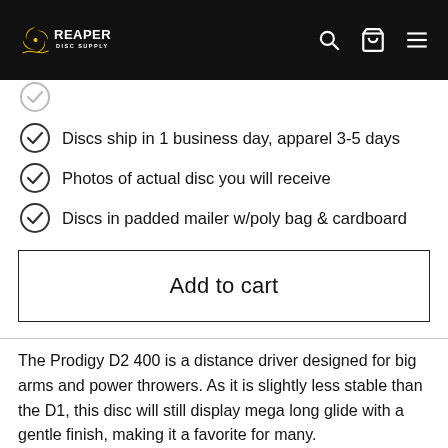REAPER DISC SUPPLY
Discs ship in 1 business day, apparel 3-5 days
Photos of actual disc you will receive
Discs in padded mailer w/poly bag & cardboard
Add to cart
The Prodigy D2 400 is a distance driver designed for big arms and power throwers. As it is slightly less stable than the D1, this disc will still display mega long glide with a gentle finish, making it a favorite for many.
At 2.3cm, the D2's wing is on par with the rest of